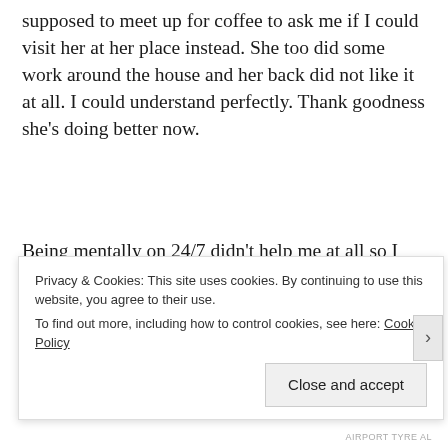supposed to meet up for coffee to ask me if I could visit her at her place instead. She too did some work around the house and her back did not like it at all. I could understand perfectly. Thank goodness she's doing better now.
Being mentally on 24/7 didn't help me at all so I also have decided to pare down on social media. As much as it pains me (well...to be honest it will for a while but I'm sure I'll be better for it) Facebook will be the first to go. I will keep my personal
Privacy & Cookies: This site uses cookies. By continuing to use this website, you agree to their use.
To find out more, including how to control cookies, see here: Cookie Policy
Close and accept
AIRPORT TYRE AL